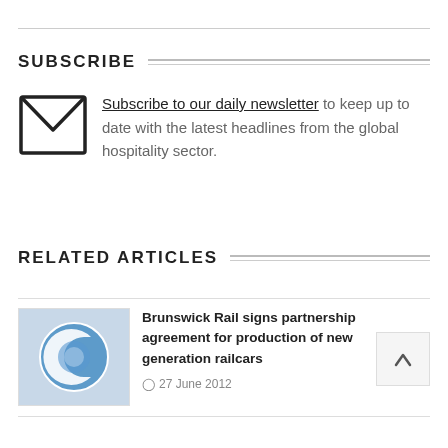SUBSCRIBE
Subscribe to our daily newsletter to keep up to date with the latest headlines from the global hospitality sector.
RELATED ARTICLES
Brunswick Rail signs partnership agreement for production of new generation railcars
27 June 2012